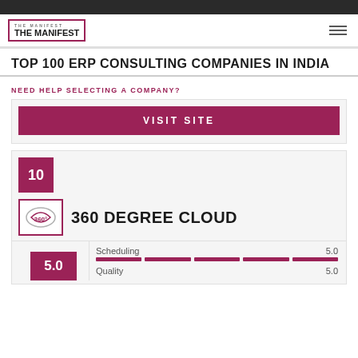THE MANIFEST
TOP 100 ERP CONSULTING COMPANIES IN INDIA
NEED HELP SELECTING A COMPANY?
VISIT SITE
10
360 DEGREE CLOUD
Scheduling 5.0
Quality 5.0
5.0